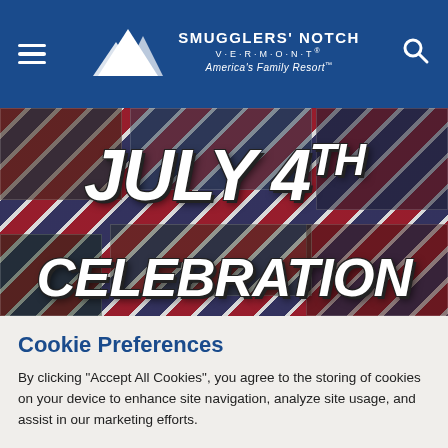[Figure (screenshot): Smugglers' Notch Vermont website header with blue background, hamburger menu icon on left, mountain logo and resort name in center, search icon on right]
[Figure (photo): July 4th Celebration banner with American flag collage background and large bold italic white text reading JULY 4TH CELEBRATION]
Cookie Preferences
By clicking “Accept All Cookies”, you agree to the storing of cookies on your device to enhance site navigation, analyze site usage, and assist in our marketing efforts.